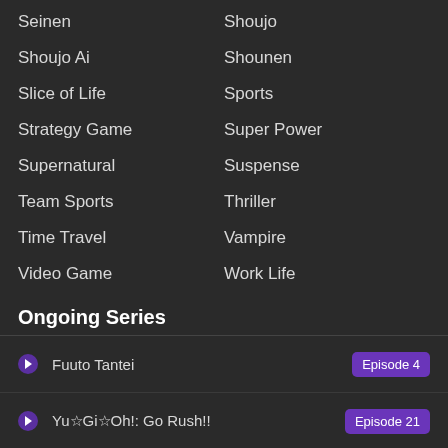Seinen
Shoujo
Shoujo Ai
Shounen
Slice of Life
Sports
Strategy Game
Super Power
Supernatural
Suspense
Team Sports
Thriller
Time Travel
Vampire
Video Game
Work Life
Ongoing Series
Fuuto Tantei — Episode 4
Yu☆Gi☆Oh!: Go Rush!! — Episode 21
Renmei Kuugun Koukuu Mahou Ongakutai L... — Episode 8
Prima Doll — Episode 8
RWBY: Hyousetsu Teikoku — Episode 8